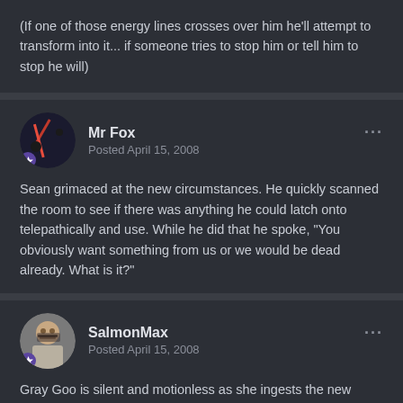(If one of those energy lines crosses over him he'll attempt to transform into it... if someone tries to stop him or tell him to stop he will)
Mr Fox
Posted April 15, 2008
Sean grimaced at the new circumstances. He quickly scanned the room to see if there was anything he could latch onto telepathically and use. While he did that he spoke, "You obviously want something from us or we would be dead already. What is it?"
SalmonMax
Posted April 15, 2008
Gray Goo is silent and motionless as she ingests the new